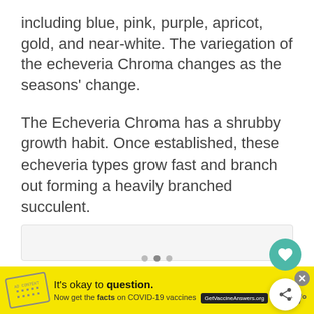including blue, pink, purple, apricot, gold, and near-white. The variegation of the echeveria Chroma changes as the seasons' change.
The Echeveria Chroma has a shrubby growth habit. Once established, these echeveria types grow fast and branch out forming a heavily branched succulent.
[Figure (other): Image placeholder area (light gray box)]
[Figure (other): Yellow advertisement banner: It's okay to question. Now get the facts on COVID-19 vaccines GetVaccineAnswers.org]